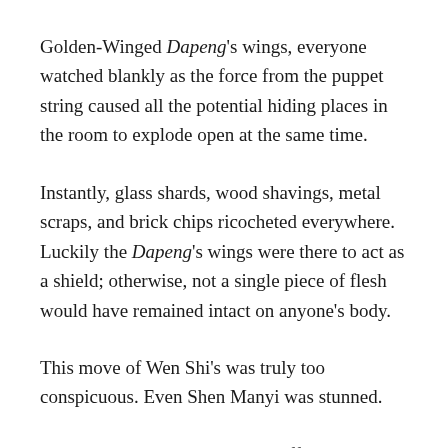Golden-Winged Dapeng's wings, everyone watched blankly as the force from the puppet string caused all the potential hiding places in the room to explode open at the same time.
Instantly, glass shards, wood shavings, metal scraps, and brick chips ricocheted everywhere. Luckily the Dapeng's wings were there to act as a shield; otherwise, not a single piece of flesh would have remained intact on anyone's body.
This move of Wen Shi's was truly too conspicuous. Even Shen Manyi was stunned.
The screaming and wailing cut off abruptly, and